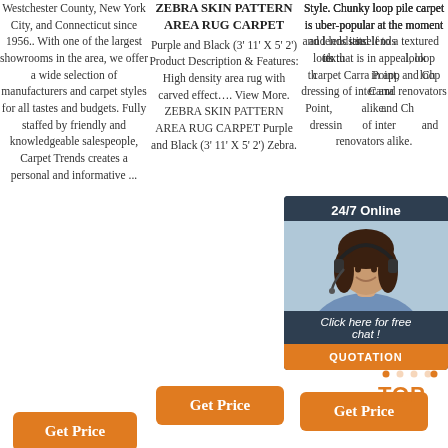Westchester County, New York City, and Connecticut since 1956.. With one of the largest showrooms in the area, we offer a wide selection of manufacturers and carpet styles for all tastes and budgets. Fully staffed by friendly and knowledgeable salespeople, Carpet Trends creates a personal and informative ...
ZEBRA SKIN PATTERN AREA RUG CARPET Purple and Black (3' 11' X 5' 2') Product Description & Features: High density area rug with carved effect…. View More. ZEBRA SKIN PATTERN AREA RUG CARPET Purple and Black (3' 11' X 5' 2') Zebra.
Style. Chunky loop pile carpet is uber-popular at the moment and lends itself to a textured look that is in appeal, loop carpet Carra Point, and Ch dressing of inter and renovators alike.
[Figure (other): Chat widget with 24/7 Online header, woman wearing headset photo, 'Click here for free chat!' text, and QUOTATION button]
[Figure (other): Orange arrow pointing up with TOP text graphic]
Get Price
Get Price
Get Price